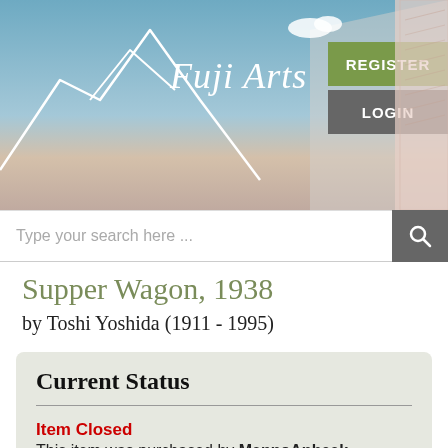[Figure (screenshot): Fuji Arts website header banner with Mount Fuji illustration, sky gradient, stylized 'Fuji Arts' script text, REGISTER and LOGIN buttons]
[Figure (screenshot): Search bar with placeholder text 'Type your search here ...' and a magnifying glass icon button]
Supper Wagon, 1938
by Toshi Yoshida (1911 - 1995)
Current Status
Item Closed
This item was purchased by MennoAnbeek